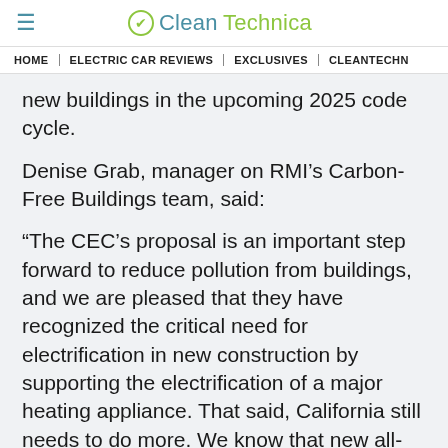≡  CleanTechnica
HOME  |  ELECTRIC CAR REVIEWS  |  EXCLUSIVES  |  CLEANTECHN
new buildings in the upcoming 2025 code cycle.
Denise Grab, manager on RMI's Carbon-Free Buildings team, said:
“The CEC’s proposal is an important step forward to reduce pollution from buildings, and we are pleased that they have recognized the critical need for electrification in new construction by supporting the electrification of a major heating appliance. That said, California still needs to do more. We know that new all-electric buildings are